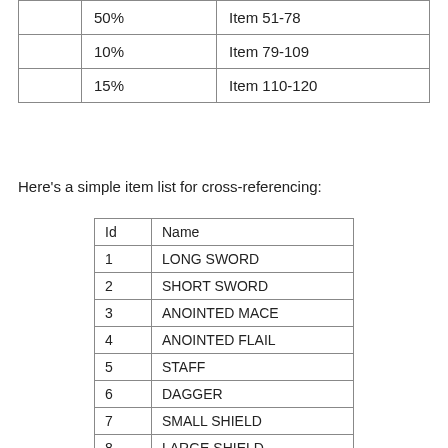|  |  |  |
| --- | --- | --- |
|  | 50% | Item 51-78 |
|  | 10% | Item 79-109 |
|  | 15% | Item 110-120 |
Here's a simple item list for cross-referencing:
| Id | Name |
| --- | --- |
| 1 | LONG SWORD |
| 2 | SHORT SWORD |
| 3 | ANOINTED MACE |
| 4 | ANOINTED FLAIL |
| 5 | STAFF |
| 6 | DAGGER |
| 7 | SMALL SHIELD |
| 8 | LARGE SHIELD |